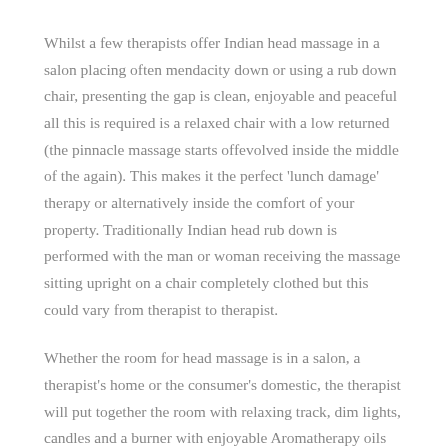Whilst a few therapists offer Indian head massage in a salon placing often mendacity down or using a rub down chair, presenting the gap is clean, enjoyable and peaceful all this is required is a relaxed chair with a low returned (the pinnacle massage starts offevolved inside the middle of the again). This makes it the perfect 'lunch damage' therapy or alternatively inside the comfort of your property. Traditionally Indian head rub down is performed with the man or woman receiving the massage sitting upright on a chair completely clothed but this could vary from therapist to therapist.
Whether the room for head massage is in a salon, a therapist's home or the consumer's domestic, the therapist will put together the room with relaxing track, dim lights, candles and a burner with enjoyable Aromatherapy oils which normally compliment those used inside the head rub